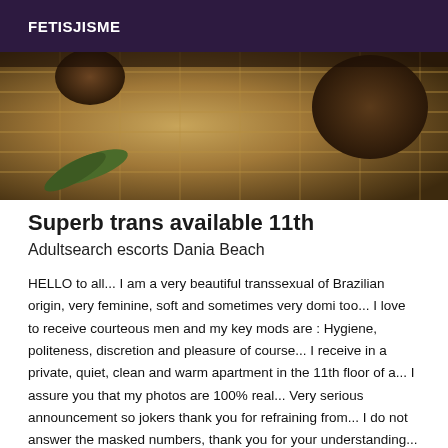FETISJISME
[Figure (photo): Close-up photo showing woven straw/rattan texture with dark rounded objects and green leaves]
Superb trans available 11th
Adultsearch escorts Dania Beach
HELLO to all... I am a very beautiful transsexual of Brazilian origin, very feminine, soft and sometimes very domi too... I love to receive courteous men and my key mods are : Hygiene, politeness, discretion and pleasure of course... I receive in a private, quiet, clean and warm apartment in the 11th floor of a... I assure you that my photos are 100% real... Very serious announcement so jokers thank you for refraining from... I do not answer the masked numbers, thank you for your understanding... Thank you and see you soon... BISOUS